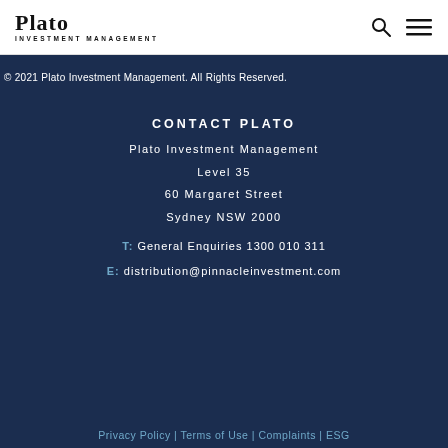[Figure (logo): Plato Investment Management logo — 'Plato' in bold serif font with 'INVESTMENT MANAGEMENT' in small caps below]
Plato Investment Management — header with search and menu icons
© 2021 Plato Investment Management. All Rights Reserved.
CONTACT PLATO
Plato Investment Management
Level 35
60 Margaret Street
Sydney NSW 2000
T: General Enquiries 1300 010 311
E: distribution@pinnacleinvestment.com
Privacy Policy | Terms of Use | Complaints | ESG